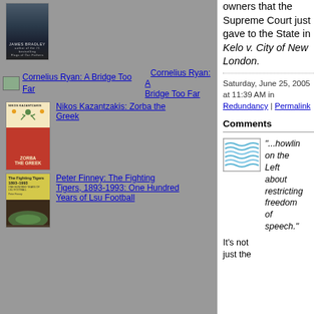[Figure (photo): Book cover: James Bradley - Flags of Our Fathers, dark stormy sky]
[Figure (photo): Small thumbnail for Cornelius Ryan: A Bridge Too Far]
Cornelius Ryan: A Bridge Too Far
Cornelius Ryan: A Bridge Too Far
[Figure (photo): Book cover: Nikos Kazantzakis - Zorba the Greek, red cover with dancing figure]
Nikos Kazantzakis: Zorba the Greek
[Figure (photo): Book cover: Peter Finney - The Fighting Tigers, 1893-1993: One Hundred Years of Lsu Football]
Peter Finney: The Fighting Tigers, 1893-1993: One Hundred Years of Lsu Football
owners that the Supreme Court just gave to the State in Kelo v. City of New London.
Saturday, June 25, 2005 at 11:39 AM in Redundancy | Permalink
Comments
[Figure (illustration): Avatar image with blue wavy lines on white background]
"...howlin on the Left about restricting freedom of speech."
It's not just the